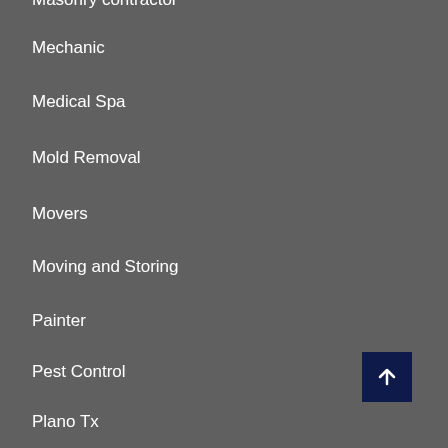Masonry contractor
Mechanic
Medical Spa
Mold Removal
Movers
Moving and Storing
Painter
Pest Control
Plano Tx
plastic Surgery